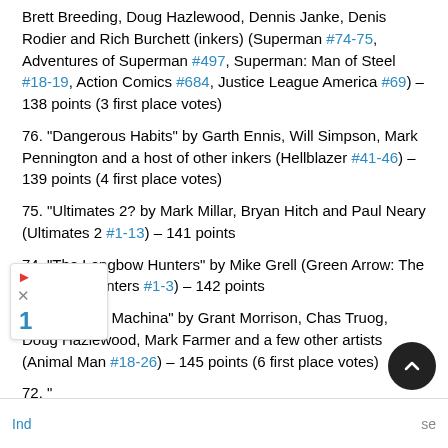Brett Breeding, Doug Hazlewood, Dennis Janke, Denis Rodier and Rich Burchett (inkers) (Superman #74-75, Adventures of Superman #497, Superman: Man of Steel #18-19, Action Comics #684, Justice League America #69) – 138 points (3 first place votes)
76. "Dangerous Habits" by Garth Ennis, Will Simpson, Mark Pennington and a host of other inkers (Hellblazer #41-46) – 139 points (4 first place votes)
75. "Ultimates 2? by Mark Millar, Bryan Hitch and Paul Neary (Ultimates 2 #1-13) – 141 points
74. "The Longbow Hunters" by Mike Grell (Green Arrow: The Longbow Hunters #1-3) – 142 points
73. "Deus ex Machina" by Grant Morrison, Chas Truog, Doug Hazlewood, Mark Farmer and a few other artists (Animal Man #18-26) – 145 points (6 first place votes)
72. "... by Neil Gaiman, Colleen Doran, Cha... McM... 150 ...